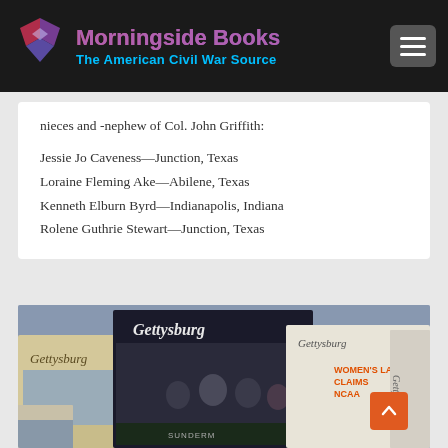Morningside Books — The American Civil War Source
nieces and -nephew of Col. John Griffith:
Jessie Jo Caveness—Junction, Texas
Loraine Fleming Ake—Abilene, Texas
Kenneth Elburn Byrd—Indianapolis, Indiana
Rolene Guthrie Stewart—Junction, Texas
[Figure (photo): Photo of Gettysburg magazine issues spread on a table, showing covers with headline text including 'WOMEN'S LAX CLAIMS NCAA' and 'SUNDERM', multiple magazine covers visible]